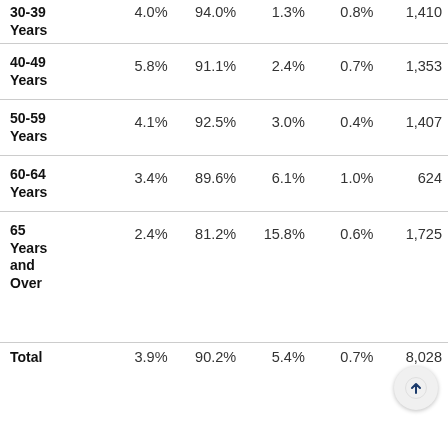| Age Group | Col1 | Col2 | Col3 | Col4 | N |
| --- | --- | --- | --- | --- | --- |
| 30-39 Years | 4.0% | 94.0% | 1.3% | 0.8% | 1,410 |
| 40-49 Years | 5.8% | 91.1% | 2.4% | 0.7% | 1,353 |
| 50-59 Years | 4.1% | 92.5% | 3.0% | 0.4% | 1,407 |
| 60-64 Years | 3.4% | 89.6% | 6.1% | 1.0% | 624 |
| 65 Years and Over | 2.4% | 81.2% | 15.8% | 0.6% | 1,725 |
| Total | 3.9% | 90.2% | 5.4% | 0.7% | 8,028 |